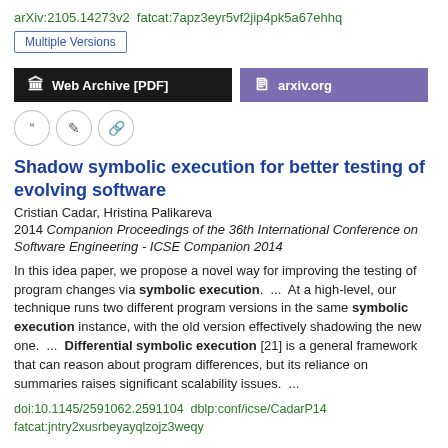arXiv:2105.14273v2  fatcat:7apz3eyr5vf2jip4pk5a67ehhq
Multiple Versions
Web Archive [PDF]
arxiv.org
Shadow symbolic execution for better testing of evolving software
Cristian Cadar, Hristina Palikareva
2014 Companion Proceedings of the 36th International Conference on Software Engineering - ICSE Companion 2014
In this idea paper, we propose a novel way for improving the testing of program changes via symbolic execution.  ...  At a high-level, our technique runs two different program versions in the same symbolic execution instance, with the old version effectively shadowing the new one.  ...  Differential symbolic execution [21] is a general framework that can reason about program differences, but its reliance on summaries raises significant scalability issues.  ...
doi:10.1145/2591062.2591104  dblp:conf/icse/CadarP14  fatcat:jntry2xusrbeyayqlzojz3weqy